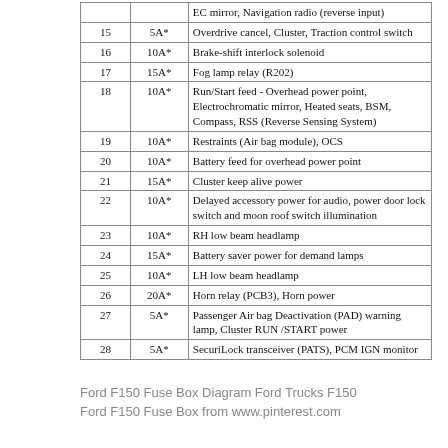| Fuse | Rating | Description |
| --- | --- | --- |
|  |  | EC mirror, Navigation radio (reverse input) |
| 15 | 5A* | Overdrive cancel, Cluster, Traction control switch |
| 16 | 10A* | Brake-shift interlock solenoid |
| 17 | 15A* | Fog lamp relay (R202) |
| 18 | 10A* | Run/Start feed - Overhead power point, Electrochromatic mirror, Heated seats, BSM, Compass, RSS (Reverse Sensing System) |
| 19 | 10A* | Restraints (Air bag module), OCS |
| 20 | 10A* | Battery feed for overhead power point |
| 21 | 15A* | Cluster keep alive power |
| 22 | 10A* | Delayed accessory power for audio, power door lock switch and moon roof switch illumination |
| 23 | 10A* | RH low beam headlamp |
| 24 | 15A* | Battery saver power for demand lamps |
| 25 | 10A* | LH low beam headlamp |
| 26 | 20A* | Horn relay (PCB3), Horn power |
| 27 | 5A* | Passenger Air bag Deactivation (PAD) warning lamp, Cluster RUN /START power |
| 28 | 5A* | SecuriLock transceiver (PATS), PCM IGN monitor |
Ford F150 Fuse Box Diagram Ford Trucks F150 Ford F150 Fuse Box from www.pinterest.com